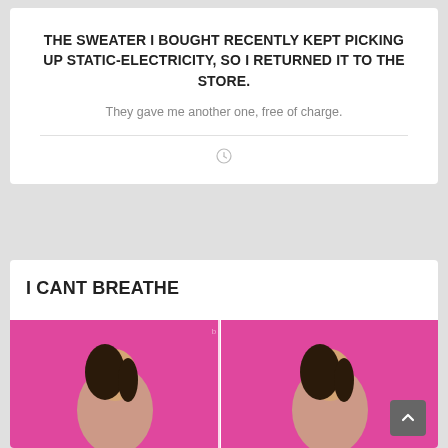THE SWEATER I BOUGHT RECENTLY KEPT PICKING UP STATIC-ELECTRICITY, SO I RETURNED IT TO THE STORE.
They gave me another one, free of charge.
I CANT BREATHE
[Figure (photo): Two-panel side-by-side image of a young Asian girl in front of a bright pink background, wearing a beige jacket. A yellow text bar appears at the bottom. The image appears twice side by side forming a meme format. A second row begins below.]